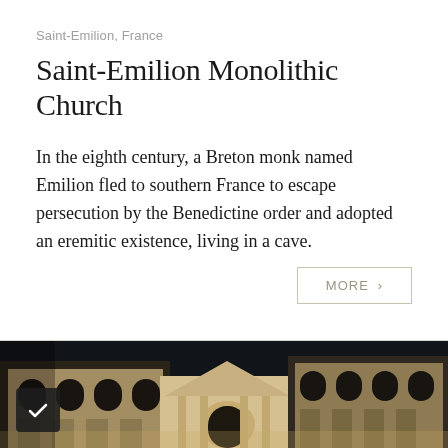Saint-Emilion, France
Saint-Emilion Monolithic Church
In the eighth century, a Breton monk named Emilion fled to southern France to escape persecution by the Benedictine order and adopted an eremitic existence, living in a cave.
MORE >
[Figure (photo): Night-time photograph of historic stone buildings with arched windows and ornate architectural details, lit with warm lighting against a dark sky.]